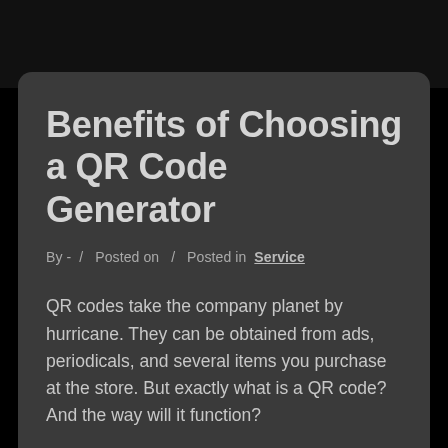Benefits of Choosing a QR Code Generator
By - / Posted on / Posted in Service
QR codes take the company planet by hurricane. They can be obtained from ads, periodicals, and several items you purchase at the store. But exactly what is a QR code? And the way will it function?
This web site submit will discuss the handful of amazing advantages of choosing a qr code generator. QR code